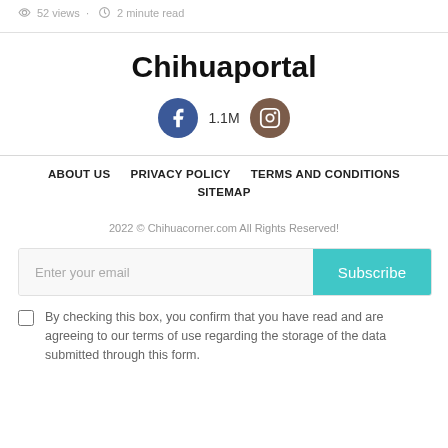52 views · 2 minute read
Chihuaportal
[Figure (logo): Facebook and Instagram social media icons with 1.1M follower count]
ABOUT US   PRIVACY POLICY   TERMS AND CONDITIONS   SITEMAP
2022 © Chihuacorner.com All Rights Reserved!
Enter your email  Subscribe
By checking this box, you confirm that you have read and are agreeing to our terms of use regarding the storage of the data submitted through this form.